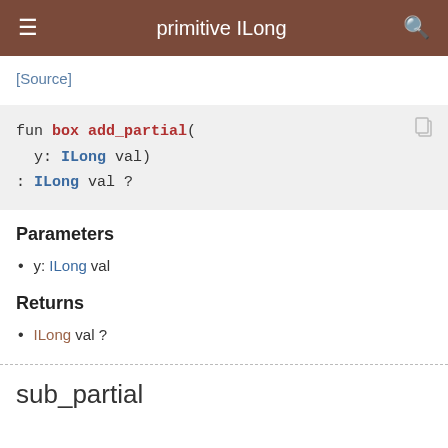primitive ILong
[Source]
fun box add_partial(
   y: ILong val)
: ILong val ?
Parameters
y: ILong val
Returns
ILong val ?
sub_partial